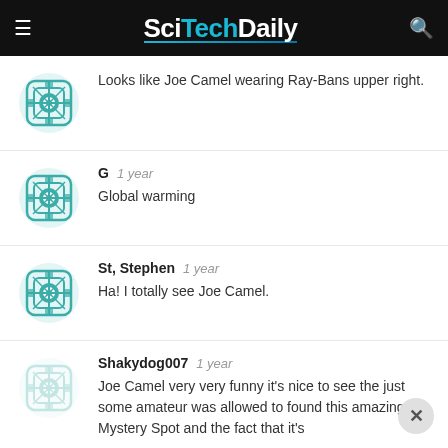SciTechDaily
Looks like Joe Camel wearing Ray-Bans upper right.
G  1 year
Global warming
St, Stephen  1 year
Ha! I totally see Joe Camel.
Shakydog007  1 year
Joe Camel very very funny it's nice to see the just some amateur was allowed to found this amazing Mystery Spot and the fact that it's